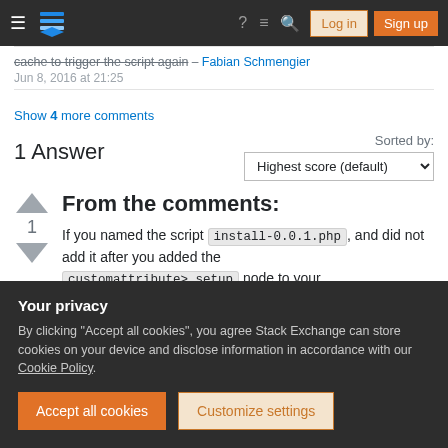Stack Exchange navigation bar with Log in and Sign up buttons
cache to trigger the script again – Fabian Schmengier
Jun 8, 2016 at 21:25
Show 4 more comments
1 Answer
Sorted by: Highest score (default)
From the comments:
If you named the script install-0.0.1.php , and did not add it after you added the <customattribute> setup node to your
Your privacy
By clicking "Accept all cookies", you agree Stack Exchange can store cookies on your device and disclose information in accordance with our Cookie Policy.
Accept all cookies    Customize settings